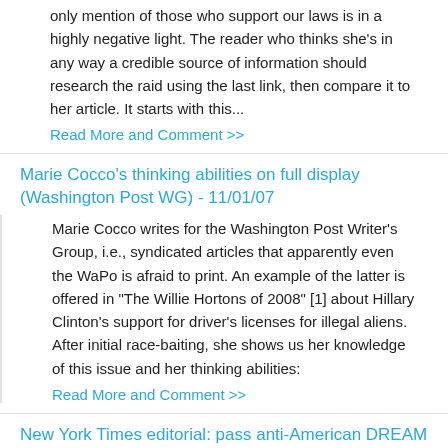only mention of those who support our laws is in a highly negative light. The reader who thinks she's in any way a credible source of information should research the raid using the last link, then compare it to her article. It starts with this...
Read More and Comment >>
Marie Cocco's thinking abilities on full display (Washington Post WG) - 11/01/07
Marie Cocco writes for the Washington Post Writer's Group, i.e., syndicated articles that apparently even the WaPo is afraid to print. An example of the latter is offered in "The Willie Hortons of 2008" [1] about Hillary Clinton's support for driver's licenses for illegal aliens. After initial race-baiting, she shows us her knowledge of this issue and her thinking abilities:
Read More and Comment >>
New York Times editorial: pass anti-American DREAM Act - 09/24/07
From the 9/20 New York Times editorial called "Pass the Dream Act" (link): ...The idea is modest and smart, but modest and smart usually don't get very